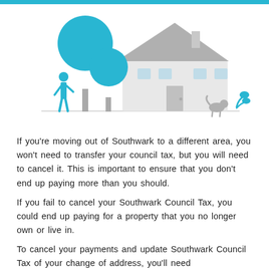[Figure (illustration): An illustrated scene showing a house with a grey roof, two teal/blue circular trees, a person standing near the trees, a small dog near the house, and small teal plant details on the right side. A ground line runs across the bottom of the scene.]
If you're moving out of Southwark to a different area, you won't need to transfer your council tax, but you will need to cancel it. This is important to ensure that you don't end up paying more than you should.
If you fail to cancel your Southwark Council Tax, you could end up paying for a property that you no longer own or live in.
To cancel your payments and update Southwark Council Tax of your change of address, you'll need